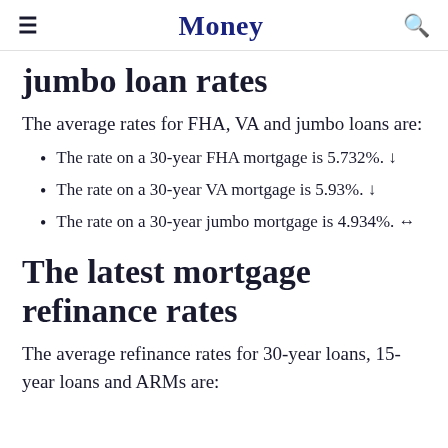Money
jumbo loan rates
The average rates for FHA, VA and jumbo loans are:
The rate on a 30-year FHA mortgage is 5.732%. ↓
The rate on a 30-year VA mortgage is 5.93%. ↓
The rate on a 30-year jumbo mortgage is 4.934%. ↔
The latest mortgage refinance rates
The average refinance rates for 30-year loans, 15-year loans and ARMs are: